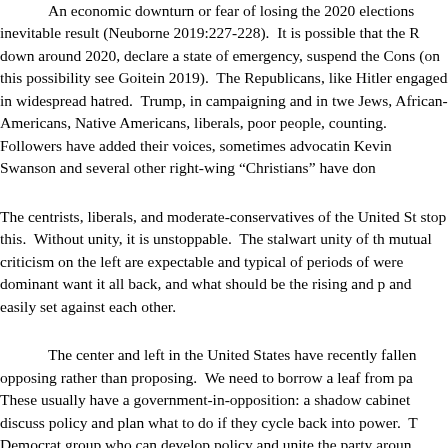An economic downturn or fear of losing the 2020 elections inevitable result (Neuborne 2019:227-228).  It is possible that the R down around 2020, declare a state of emergency, suspend the Cons (on this possibility see Goitein 2019).  The Republicans, like Hitle engaged in widespread hatred.  Trump, in campaigning and in twe Jews, African-Americans, Native Americans, liberals, poor people, counting.  Followers have added their voices, sometimes advocatin Kevin Swanson and several other right-wing “Christians” have don
The centrists, liberals, and moderate-conservatives of the United St stop this.  Without unity, it is unstoppable.  The stalwart unity of th mutual criticism on the left are expectable and typical of periods of were dominant want it all back, and what should be the rising and p and easily set against each other.
The center and left in the United States have recently fallen opposing rather than proposing.  We need to borrow a leaf from pa These usually have a government-in-opposition: a shadow cabinet discuss policy and plan what to do if they cycle back into power.  T Democrat group who can develop policy and unite the party aroun virtual cabinet ministers, heads of agencies, and the rest of the gov that people must go against something to unite successfully.  We ca nobler, more inclusive goal.  Even Hitler knew enough to do it.  We
We have seen how certain “progressives” of the 2010s faile